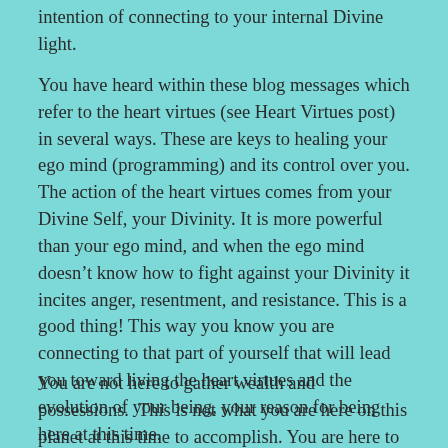intention of connecting to your internal Divine light.
You have heard within these blog messages which refer to the heart virtues (see Heart Virtues post) in several ways. These are keys to healing your ego mind (programming) and its control over you. The action of the heart virtues comes from your Divine Self, your Divinity. It is more powerful than your ego mind, and when the ego mind doesn’t know how to fight against your Divinity it incites anger, resentment, and resistance. This is a good thing! This way you know you are connecting to that part of yourself that will lead you toward living the heart virtues and the evolution of your being, your reason for being here at this time.
You are not here to gather wealth and possessions.  This is not what you are here on this planet at this time to accomplish. You are here to evolve and to help others to